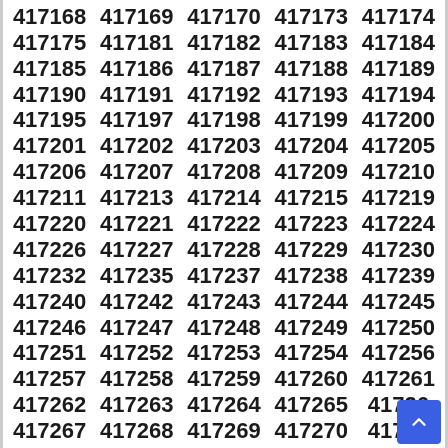| 417168 | 417169 | 417170 | 417173 | 417174 |
| 417175 | 417181 | 417182 | 417183 | 417184 |
| 417185 | 417186 | 417187 | 417188 | 417189 |
| 417190 | 417191 | 417192 | 417193 | 417194 |
| 417195 | 417197 | 417198 | 417199 | 417200 |
| 417201 | 417202 | 417203 | 417204 | 417205 |
| 417206 | 417207 | 417208 | 417209 | 417210 |
| 417211 | 417213 | 417214 | 417215 | 417219 |
| 417220 | 417221 | 417222 | 417223 | 417224 |
| 417226 | 417227 | 417228 | 417229 | 417230 |
| 417232 | 417235 | 417237 | 417238 | 417239 |
| 417240 | 417242 | 417243 | 417244 | 417245 |
| 417246 | 417247 | 417248 | 417249 | 417250 |
| 417251 | 417252 | 417253 | 417254 | 417256 |
| 417257 | 417258 | 417259 | 417260 | 417261 |
| 417262 | 417263 | 417264 | 417265 | 41726… |
| 417267 | 417268 | 417269 | 417270 | 41727… |